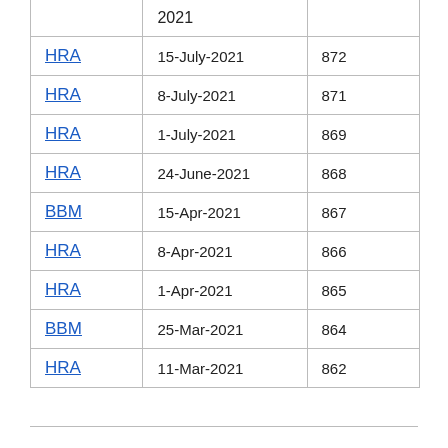| Type | Date | Number |
| --- | --- | --- |
|  | 2021 |  |
| HRA | 15-July-2021 | 872 |
| HRA | 8-July-2021 | 871 |
| HRA | 1-July-2021 | 869 |
| HRA | 24-June-2021 | 868 |
| BBM | 15-Apr-2021 | 867 |
| HRA | 8-Apr-2021 | 866 |
| HRA | 1-Apr-2021 | 865 |
| BBM | 25-Mar-2021 | 864 |
| HRA | 11-Mar-2021 | 862 |